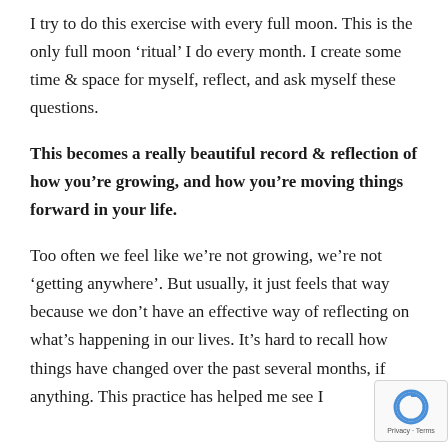I try to do this exercise with every full moon. This is the only full moon ‘ritual’ I do every month. I create some time & space for myself, reflect, and ask myself these questions.
This becomes a really beautiful record & reflection of how you’re growing, and how you’re moving things forward in your life.
Too often we feel like we’re not growing, we’re not ‘getting anywhere’. But usually, it just feels that way because we don’t have an effective way of reflecting on what’s happening in our lives. It’s hard to recall how things have changed over the past several months, if anything. This practice has helped me see I